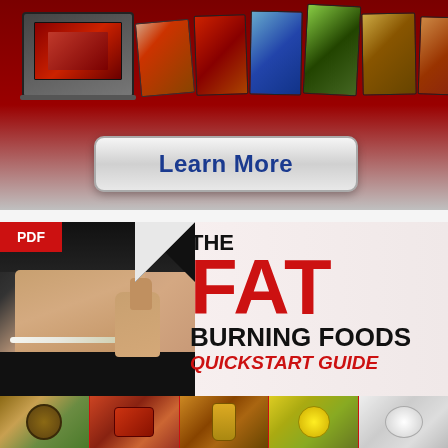[Figure (infographic): Top banner with dark red background showing a laptop and stacked product/book images arranged in a presentation display]
[Figure (illustration): Large rounded-rectangle button with gradient silver background showing 'Learn More' text in bold blue]
[Figure (infographic): Book cover for 'The Fat Burning Foods Quickstart Guide' PDF showing a person in black athletic wear measuring their waist with a tape measure, giving thumbs up, with large red and black text on light background. A page-curl effect is visible at top. Bottom strip shows food photos including coconuts, meat, oils, citrus fruits and dairy.]